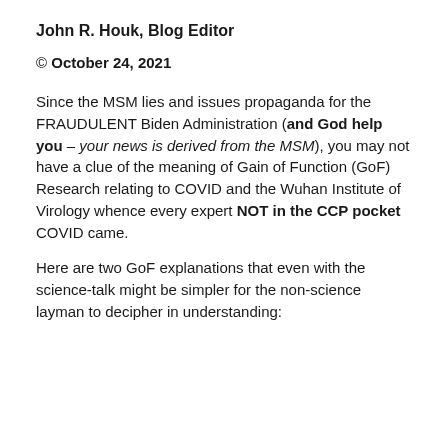John R. Houk, Blog Editor
© October 24, 2021
Since the MSM lies and issues propaganda for the FRAUDULENT Biden Administration (and God help you – your news is derived from the MSM), you may not have a clue of the meaning of Gain of Function (GoF) Research relating to COVID and the Wuhan Institute of Virology whence every expert NOT in the CCP pocket COVID came.
Here are two GoF explanations that even with the science-talk might be simpler for the non-science layman to decipher in understanding: